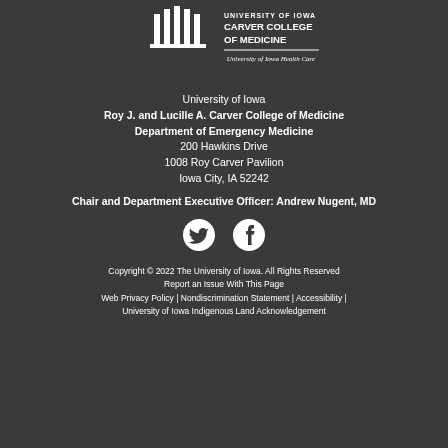[Figure (logo): University of Iowa Carver College of Medicine logo with University of Iowa Health Care text below]
University of Iowa
Roy J. and Lucille A. Carver College of Medicine
Department of Emergency Medicine
200 Hawkins Drive
1008 Roy Carver Pavilion
Iowa City, IA 52242
Chair and Department Executive Officer: Andrew Nugent, MD
[Figure (illustration): Twitter and Facebook social media icons]
Copyright © 2022 The University of Iowa. All Rights Reserved
Report an Issue With This Page
Web Privacy Policy | Nondiscrimination Statement | Accessibility |
University of Iowa Indigenous Land Acknowledgement